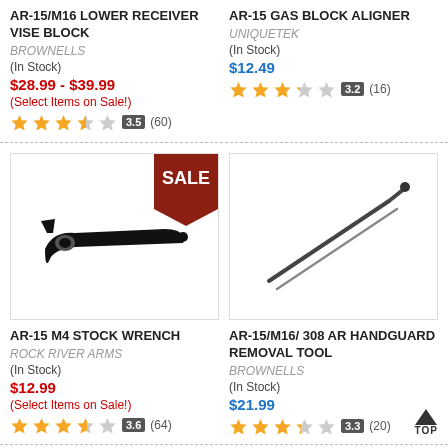AR-15/M16 LOWER RECEIVER VISE BLOCK
BROWNELLS
(In Stock)
$28.99 - $39.99
(Select Items on Sale!)
3.5 (60)
AR-15 GAS BLOCK ALIGNER
UNIQUETEK
(In Stock)
$12.49
3.2 (16)
[Figure (photo): AR-15 M4 Stock Wrench tool, black, with SALE banner badge in upper right corner]
[Figure (photo): AR-15/M16/308 AR Handguard Removal Tool, long metal rod with bent end]
AR-15 M4 STOCK WRENCH
ROCK RIVER ARMS
(In Stock)
$12.99
(Select Items on Sale!)
3.6 (64)
AR-15/M16/ 308 AR HANDGUARD REMOVAL TOOL
BROWNELLS
(In Stock)
$21.99
3.3 (20)